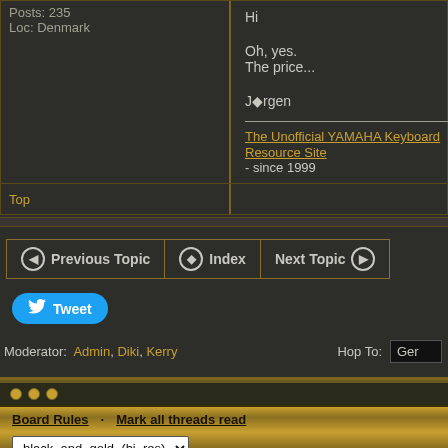Posts: 235
Loc: Denmark
Hi

Oh, yes.
The price...

Jørgen

__________________________
The Unofficial YAMAHA Keyboard Resource Site
- since 1999
Top
Previous Topic · Index · Next Topic
Tweet
Moderator: Admin, Diki, Kerry   Hop To: Ger
Board Rules · Mark all threads read
black_and_gold_(hi_res)